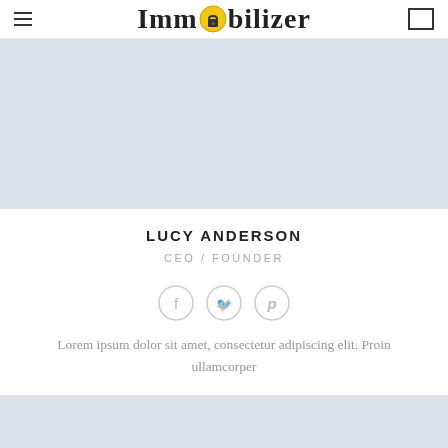Immobilizer
[Figure (photo): Profile photo placeholder – light blue-grey rectangle]
LUCY ANDERSON
CEO / FOUNDER
[Figure (illustration): Three social media icon circles: Facebook (f), Twitter (bird), Pinterest (p)]
Lorem ipsum dolor sit amet, consectetur adipiscing elit. Proin ullamcorper
[Figure (photo): Second profile photo placeholder – light blue-grey rectangle]